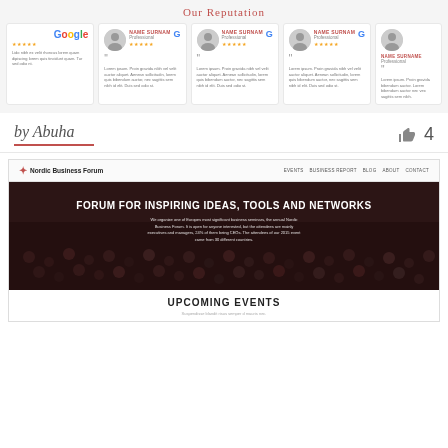Our Reputation
[Figure (screenshot): Google review cards showing NAME SURNAME, Professional, 5-star ratings and Lorem ipsum review text]
by Abuha
[Figure (screenshot): Nordic Business Forum website screenshot showing navigation bar with EVENTS, BUSINESS REPORT, BLOG, ABOUT, CONTACT links, hero section with audience photo and text FORUM FOR INSPIRING IDEAS, TOOLS AND NETWORKS, and UPCOMING EVENTS section below]